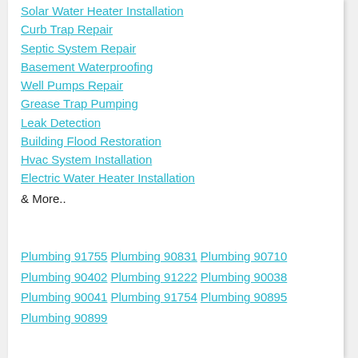Solar Water Heater Installation
Curb Trap Repair
Septic System Repair
Basement Waterproofing
Well Pumps Repair
Grease Trap Pumping
Leak Detection
Building Flood Restoration
Hvac System Installation
Electric Water Heater Installation
& More..
Plumbing 91755 Plumbing 90831 Plumbing 90710 Plumbing 90402 Plumbing 91222 Plumbing 90038 Plumbing 90041 Plumbing 91754 Plumbing 90895 Plumbing 90899